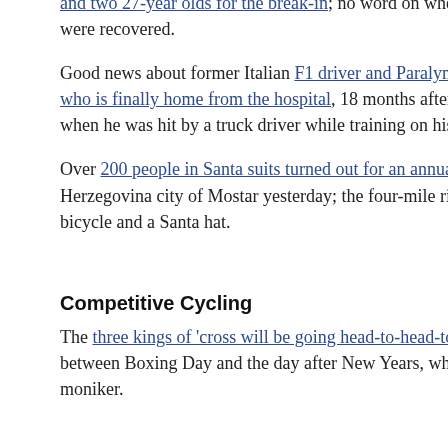and two 27-year olds for the break-in; no word on whether any of the were recovered.
Good news about former Italian F1 driver and Paralympic gold med… who is finally home from the hospital, 18 months after he suffered s… when he was hit by a truck driver while training on his handcycle.
Over 200 people in Santa suits turned out for an annual bike ride i… Herzegovina city of Mostar yesterday; the four-mile ride was open … bicycle and a Santa hat.
Competitive Cycling
The three kings of 'cross will be going head-to-head-to-head four t… between Boxing Day and the day after New Years, which really nee… moniker.
Finally…
If you're going to whip out a gun while stealing a bike from Walmar…